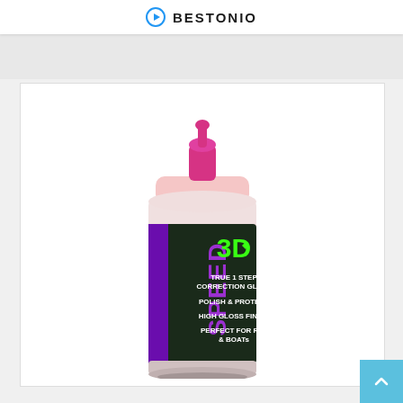BESTONIO
[Figure (photo): A bottle of 3D SPEED car polish product with pink/purple cap and dark label. The label reads: 3D, SPEED, TRUE 1 STEP CORRECTION GLAZE, POLISH & PROTECT, HIGH GLOSS FINISH, PERFECT FOR RVs & BOATs.]